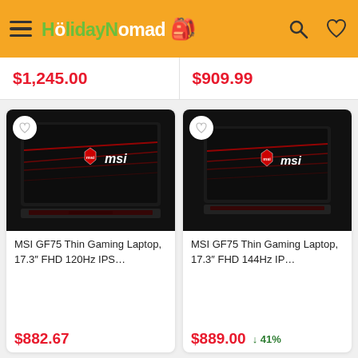HolidayNomad (header navigation bar)
$1,245.00
$909.99
[Figure (photo): MSI GF75 gaming laptop with red backlit keyboard, front view showing MSI logo on screen]
MSI GF75 Thin Gaming Laptop, 17.3″ FHD 120Hz IPS…
$882.67
[Figure (photo): MSI GF75 gaming laptop with red backlit keyboard, front view showing MSI logo on screen]
MSI GF75 Thin Gaming Laptop, 17.3″ FHD 144Hz IP…
$889.00
↓ 41%